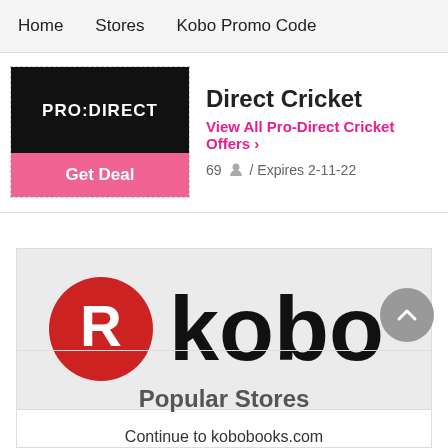Home   Stores   Kobo Promo Code
[Figure (logo): PRO:DIRECT logo in white text on black background]
Direct Cricket
View All Pro-Direct Cricket Offers >
69  / Expires 2-11-22
Get Deal
[Figure (logo): Kobo logo with red R circle and 'kobo' wordmark on light grey background]
Continue to kobobooks.com
Popular Stores